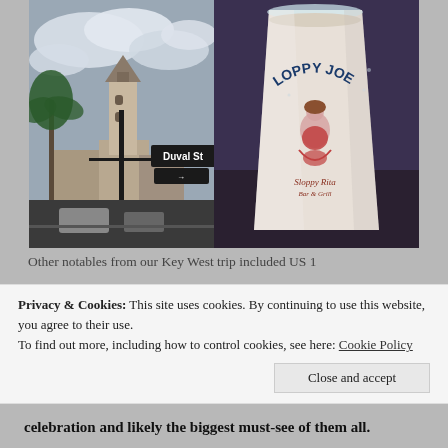[Figure (photo): Two photos side by side. Left: Duval St street sign with palm trees and a church tower in the background against a cloudy sky. Right: A Sloppy Joe's branded plastic cup with a milky drink inside.]
Other notables from our Key West trip included US 1...
Privacy & Cookies: This site uses cookies. By continuing to use this website, you agree to their use.
To find out more, including how to control cookies, see here: Cookie Policy
Close and accept
celebration and likely the biggest must-see of them all.